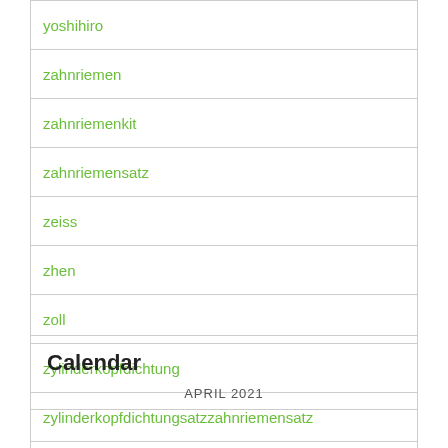yoshihiro
zahnriemen
zahnriemenkit
zahnriemensatz
zeiss
zhen
zoll
zylinderkopfdichtung
zylinderkopfdichtungsatzzahnriemensatz
Calendar
APRIL 2021